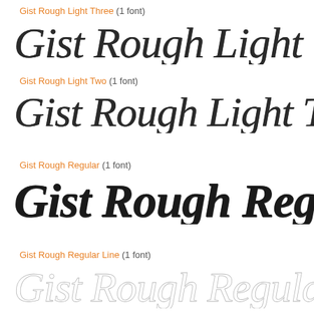Gist Rough Light Three (1 font)
[Figure (illustration): Large italic serif font display: 'Gist Rough Light Thre' in a rough textured style, cropped at right edge]
Gist Rough Light Two (1 font)
[Figure (illustration): Large italic serif font display: 'Gist Rough Light Two' in a rough textured style, cropped at right edge]
Gist Rough Regular (1 font)
[Figure (illustration): Large italic serif font display: 'Gist Rough Regular' in a bold rough textured style]
Gist Rough Regular Line (1 font)
[Figure (illustration): Large italic serif font display: 'Gist Rough Regular Li' in outline/stroke-only style, cropped at right edge]